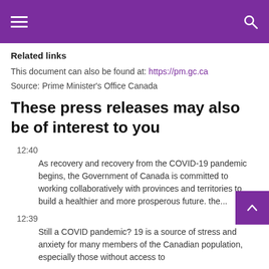Navigation header bar with hamburger menu and search icon
Related links
This document can also be found at: https://pm.gc.ca
Source: Prime Minister's Office Canada
These press releases may also be of interest to you
12:40 — As recovery and recovery from the COVID-19 pandemic begins, the Government of Canada is committed to working collaboratively with provinces and territories to build a healthier and more prosperous future. the...
12:39 — Still a COVID pandemic? 19 is a source of stress and anxiety for many members of the Canadian population, especially those without access to